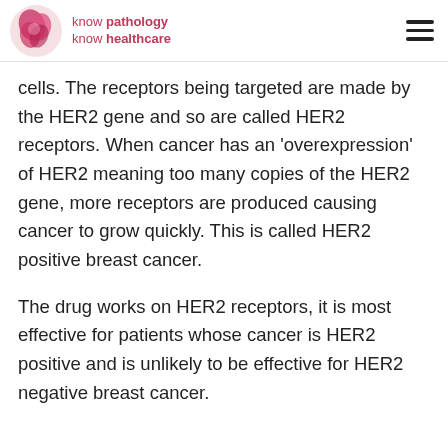know pathology know healthcare
cells. The receptors being targeted are made by the HER2 gene and so are called HER2 receptors. When cancer has an ‘overexpression’ of HER2 meaning too many copies of the HER2 gene, more receptors are produced causing cancer to grow quickly. This is called HER2 positive breast cancer.
The drug works on HER2 receptors, it is most effective for patients whose cancer is HER2 positive and is unlikely to be effective for HER2 negative breast cancer.